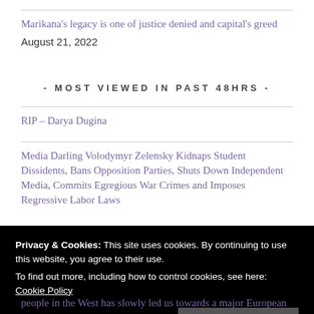Marikana's legacy is one of justice denied and capital's greed
August 21, 2022
- MOST VIEWED IN PAST 48HRS -
RIP – Darya Dugina
Media Darling Volodymyr Zelensky Kidnaps Student Dissidents, Bans Opposition Parties, Shuts Down Independent Media, Commits Egregious War Crimes and Imposes Regressive Labor Laws
Privacy & Cookies: This site uses cookies. By continuing to use this website, you agree to their use.
To find out more, including how to control cookies, see here: Cookie Policy
people in the West has slowly led us towards a major European